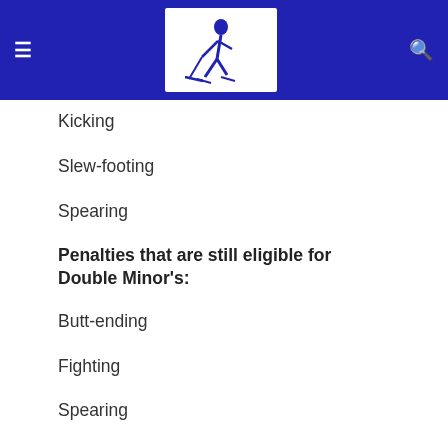SBHA Hockey — navigation header with logo
Kicking
Slew-footing
Spearing
Penalties that are still eligible for Double Minor's:
Butt-ending
Fighting
Spearing
Any other rule changes are overruled by the adult or youth SBHA supplemental rules.